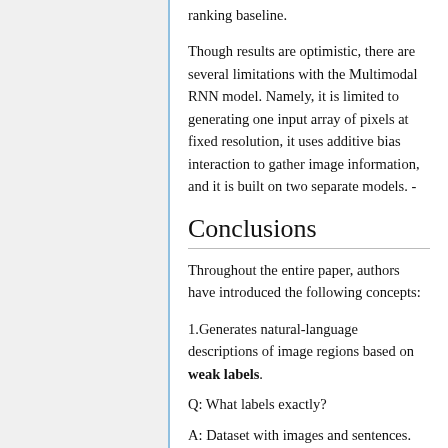ranking baseline.
Though results are optimistic, there are several limitations with the Multimodal RNN model. Namely, it is limited to generating one input array of pixels at fixed resolution, it uses additive bias interaction to gather image information, and it is built on two separate models. -
Conclusions
Throughout the entire paper, authors have introduced the following concepts:
1.Generates natural-language descriptions of image regions based on weak labels.
Q: What labels exactly?
A: Dataset with images and sentences.
2. This model has few hard-coded